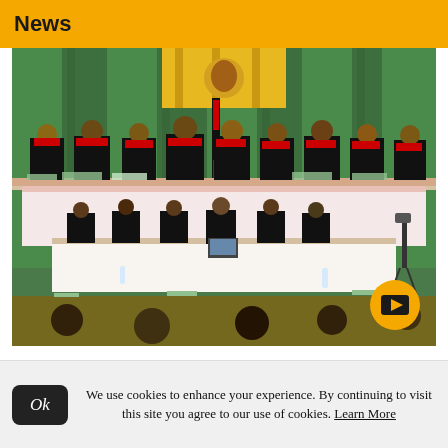News
[Figure (photo): Kenyan Supreme Court judges and lawyers seated at a long bench in a formal courtroom with green curtains, Kenyan coat of arms, and Kenyan flag, with a video play button overlay]
Live updates from 2022
We use cookies to enhance your experience. By continuing to visit this site you agree to our use of cookies. Learn More